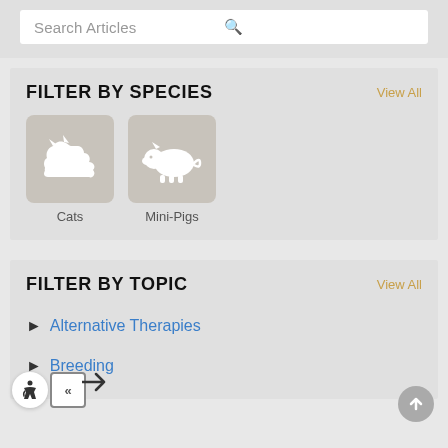Search Articles
FILTER BY SPECIES
View All
[Figure (illustration): Cat silhouette icon in white on gray rounded square background]
Cats
[Figure (illustration): Mini-pig silhouette icon in white on gray rounded square background]
Mini-Pigs
FILTER BY TOPIC
View All
Alternative Therapies
Breeding